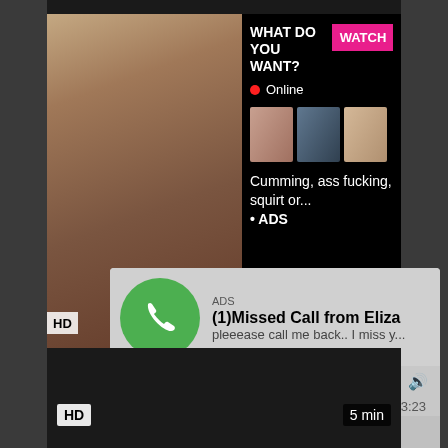[Figure (screenshot): Adult video website screenshot with popup ads overlay. Top ad shows black background with 'WHAT DO YOU WANT?' text, pink WATCH button, Online status indicator, thumbnail images, and text 'Cumming, ass fucking, squirt or... ADS'. Below shows video title 'Bossy Domina Babe Bigtits Humiliation'. Middle section shows fake phone notification ad: 'ADS - (1)Missed Call from Eliza - pleeease call me back.. I miss y...' with audio player controls showing 0:00 and 3:23. Bottom shows dark background with HD badge and '5 min' label.]